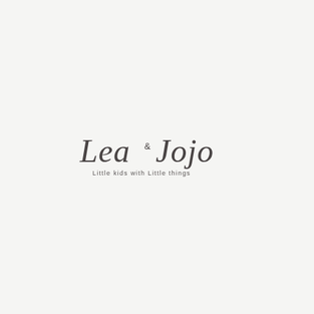[Figure (logo): Lea & Jojo logo in cursive/script font with tagline 'Little kids with Little things' below]